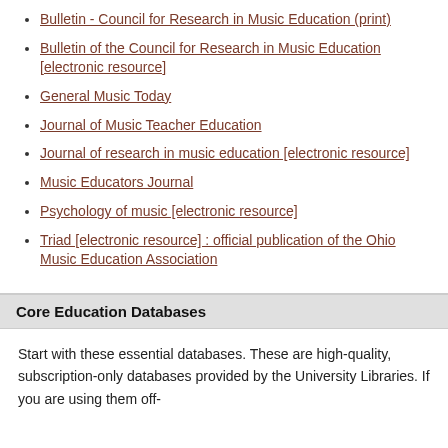Bulletin - Council for Research in Music Education (print)
Bulletin of the Council for Research in Music Education [electronic resource]
General Music Today
Journal of Music Teacher Education
Journal of research in music education [electronic resource]
Music Educators Journal
Psychology of music [electronic resource]
Triad [electronic resource] : official publication of the Ohio Music Education Association
Core Education Databases
Start with these essential databases. These are high-quality, subscription-only databases provided by the University Libraries. If you are using them off-